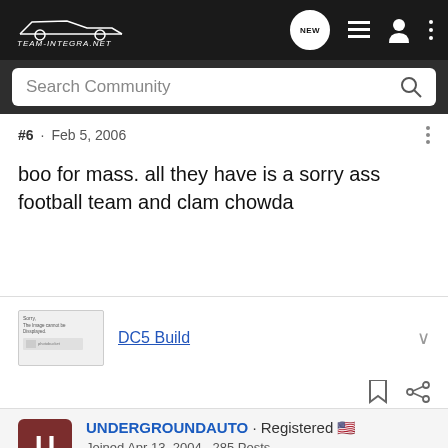[Figure (screenshot): Team-Integra.net forum navigation bar with logo, NEW chat icon, list icon, user icon, and vertical dots menu]
[Figure (screenshot): Search Community search bar with magnifying glass icon]
#6 · Feb 5, 2006
boo for mass. all they have is a sorry ass football team and clam chowda
[Figure (screenshot): Forum attachment thumbnail linking to DC5 Build thread]
UNDERGROUNDAUTO · Registered 🇺🇸
Joined Apr 13, 2004 · 285 Posts